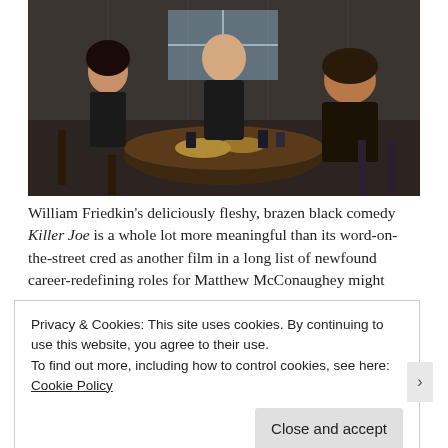[Figure (photo): Three people sitting around a dark wooden round table in a dimly lit room. A woman in a black dress on the left looks away, a man in black standing/leaning in the center, and a heavyset man in a dark hoodie on the right. Food and drinks on the table.]
William Friedkin’s deliciously fleshy, brazen black comedy Killer Joe is a whole lot more meaningful than its word-on-the-street cred as another film in a long list of newfound career-redefining roles for Matthew McConaughey might
Privacy & Cookies: This site uses cookies. By continuing to use this website, you agree to their use.
To find out more, including how to control cookies, see here: Cookie Policy
Close and accept